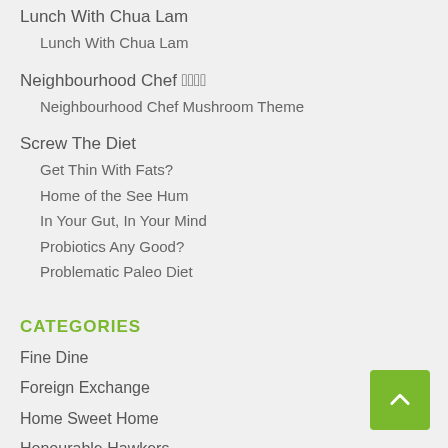Lunch With Chua Lam
Lunch With Chua Lam
Neighbourhood Chef 鄰里廚神
Neighbourhood Chef Mushroom Theme
Screw The Diet
Get Thin With Fats?
Home of the See Hum
In Your Gut, In Your Mind
Probiotics Any Good?
Problematic Paleo Diet
CATEGORIES
Fine Dine
Foreign Exchange
Home Sweet Home
Honourable Hawkers
Juicy Bits